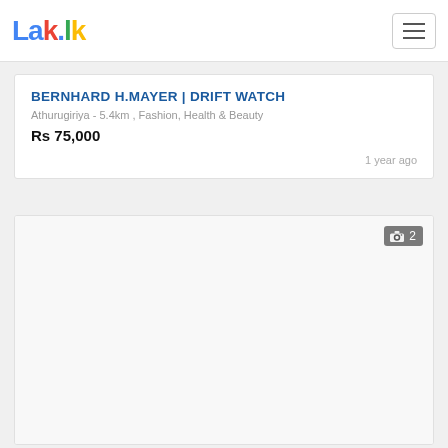Lak.lk
BERNHARD H.MAYER | DRIFT WATCH
Athurugiriya - 5.4km , Fashion, Health & Beauty
Rs 75,000
1 year ago
[Figure (photo): Listing image placeholder area with photo count badge showing camera icon and number 2]